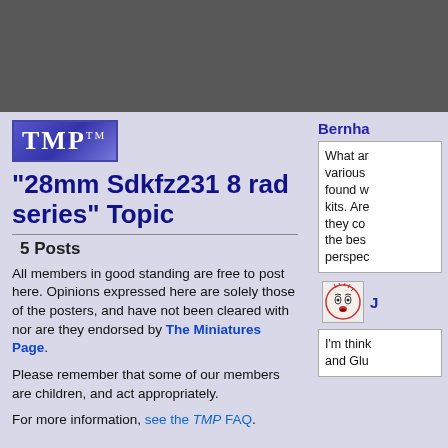[Figure (other): Dark gray top bar / header banner background]
[Figure (logo): TMP™ logo in blue/purple gradient rectangle with white serif text]
"28mm Sdkfz231 8 rad series" Topic
5 Posts
All members in good standing are free to post here. Opinions expressed here are solely those of the posters, and have not been cleared with nor are they endorsed by The Miniatures Page.
Please remember that some of our members are children, and act appropriately.
For more information, see the TMP FAQ.
Bernha
What ar various found w kits. Are they co the bes perspec
[Figure (illustration): Small circular avatar icon with face illustration]
J
I'm think and Glu